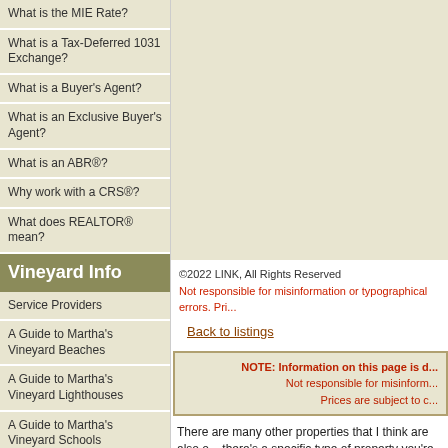What is the MIE Rate?
What is a Tax-Deferred 1031 Exchange?
What is a Buyer's Agent?
What is an Exclusive Buyer's Agent?
What is an ABR®?
Why work with a CRS®?
What does REALTOR® mean?
Vineyard Info
Service Providers
A Guide to Martha's Vineyard Beaches
A Guide to Martha's Vineyard Lighthouses
A Guide to Martha's Vineyard Schools
Census Data
Split Rock and other Vineyard Rocks
Massachusetts Real Estate LLC LIC #7755 Massachusetts Real Estate Broker Since 1991
©2022 LINK, All Rights Reserved
Not responsible for misinformation or typographical errors. Pri...
Back to listings
NOTE: Information on this page is d...
Not responsible for misinform...
Prices are subject to c...
There are many other properties that I think are also o... there's a specific type of property you're looking for, p... call me. I love what I do - and I'd like to share my enth...
If you'd like to receive information on the latest real es... properties I think are above average, then you want to...